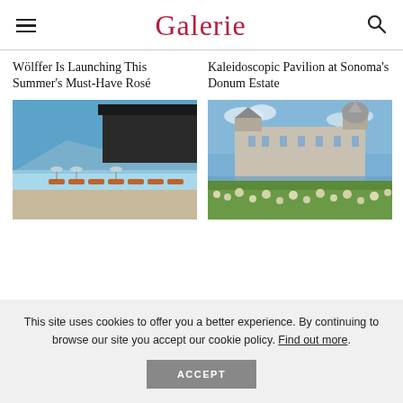Galerie
Wölffer Is Launching This Summer's Must-Have Rosé
[Figure (photo): Rooftop pool with lounge chairs overlooking a marina, clear blue sky and modern architecture in background]
Kaleidoscopic Pavilion at Sonoma's Donum Estate
[Figure (photo): Grand castle or chateau building viewed across a lake or pond, with wildflowers in the foreground and blue sky with clouds]
This site uses cookies to offer you a better experience. By continuing to browse our site you accept our cookie policy. Find out more.